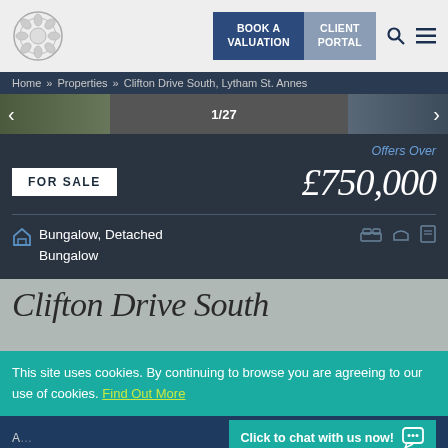BOOK A VALUATION | CLIENT PORTAL
Home » Properties » Clifton Drive South, Lytham St. Annes
1/27
Offers Over
FOR SALE  £750,000
Bungalow, Detached Bungalow
Clifton Drive South
This site uses cookies. By continuing to browse you are agreeing to our use of cookies. Find Out More
Click to chat with us now!